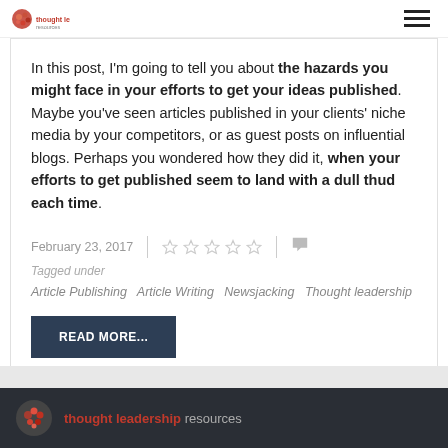thought leadership resources
In this post, I'm going to tell you about the hazards you might face in your efforts to get your ideas published. Maybe you've seen articles published in your clients' niche media by your competitors, or as guest posts on influential blogs. Perhaps you wondered how they did it, when your efforts to get published seem to land with a dull thud each time.
February 23, 2017
Tagged under
Article Publishing  Article Writing  Newsjacking  Thought leadership
READ MORE...
thought leadership resources